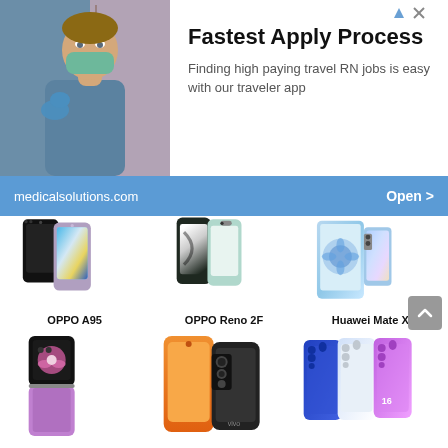[Figure (photo): Advertisement banner showing a nurse in scrubs and mask with text 'Fastest Apply Process - Finding high paying travel RN jobs is easy with our traveler app' and medicalsolutions.com]
medicalsolutions.com
Open >
[Figure (photo): OPPO A95 smartphones showing black and purple color variants]
OPPO A95
[Figure (photo): OPPO Reno 2F smartphones showing front and back]
OPPO Reno 2F
[Figure (photo): Huawei Mate X2 foldable phone showing various angles]
Huawei Mate X2
[Figure (photo): Samsung Galaxy Z Flip in black and purple]
[Figure (photo): Vivo phone in orange color]
[Figure (photo): Xiaomi Mi A3 phones in blue, white and purple]